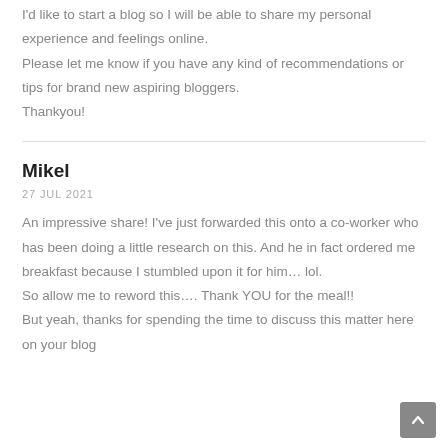I'd like to start a blog so I will be able to share my personal experience and feelings online.
Please let me know if you have any kind of recommendations or tips for brand new aspiring bloggers.
Thankyou!
Mikel
27 JUL 2021
An impressive share! I've just forwarded this onto a co-worker who has been doing a little research on this. And he in fact ordered me breakfast because I stumbled upon it for him… lol.
So allow me to reword this…. Thank YOU for the meal!!
But yeah, thanks for spending the time to discuss this matter here on your blog